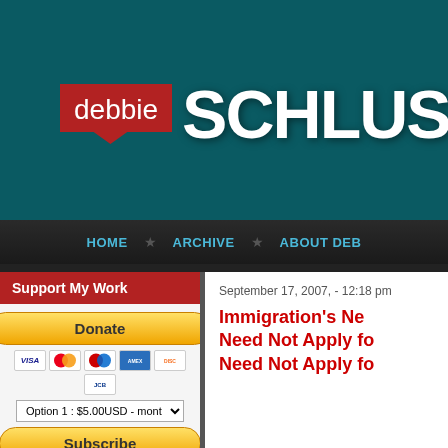[Figure (logo): Debbie Schlussel website logo with red speech bubble containing 'debbie' and white bold text 'SCHLUS' on teal background]
HOME ★ ARCHIVE ★ ABOUT DEB
Support My Work
[Figure (infographic): PayPal Donate button with credit card icons (VISA, Mastercard, Maestro, Amex, Discover, JCB), subscription dropdown Option 1: $5.00USD - monthly, Subscribe button with VISA, Mastercard, Maestro, Amex, Discover icons]
September 17, 2007, - 12:18 pm
Immigration's New Need Not Apply fo Need Not Apply fo